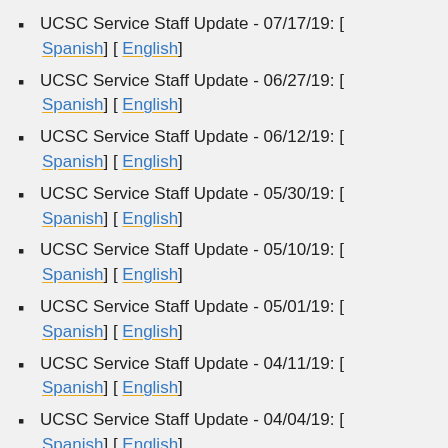UCSC Service Staff Update - 07/17/19: [ Spanish] [ English]
UCSC Service Staff Update - 06/27/19: [ Spanish] [ English]
UCSC Service Staff Update - 06/12/19: [ Spanish] [ English]
UCSC Service Staff Update - 05/30/19: [ Spanish] [ English]
UCSC Service Staff Update - 05/10/19: [ Spanish] [ English]
UCSC Service Staff Update - 05/01/19: [ Spanish] [ English]
UCSC Service Staff Update - 04/11/19: [ Spanish] [ English]
UCSC Service Staff Update - 04/04/19: [ Spanish] [ English]
UCSC Service Staff Update - (partially visible)